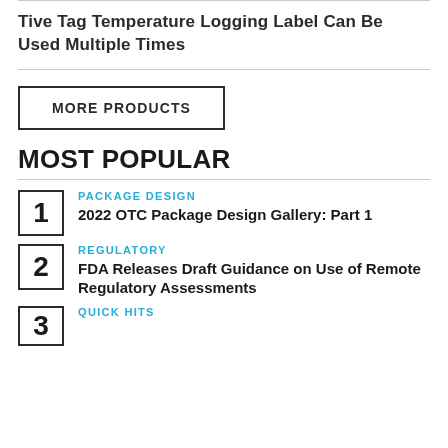Tive Tag Temperature Logging Label Can Be Used Multiple Times
MORE PRODUCTS
MOST POPULAR
PACKAGE DESIGN
2022 OTC Package Design Gallery: Part 1
REGULATORY
FDA Releases Draft Guidance on Use of Remote Regulatory Assessments
QUICK HITS